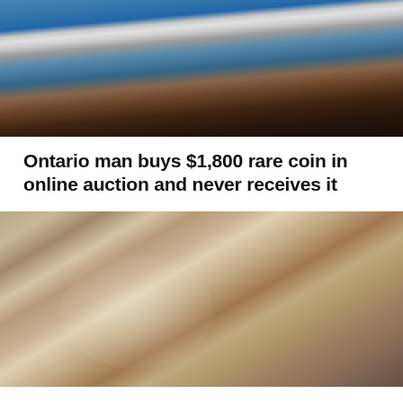[Figure (photo): Photo of a man in a blue shirt using a laptop computer, appearing to be at a desk or table]
Ontario man buys $1,800 rare coin in online auction and never receives it
[Figure (photo): Vintage wedding photo of a bride and groom, the bride wearing a white veil and the groom in a dark suit with a boutonniere]
Ontario woman's lost $20K engagement ring diamond not covered by insurance